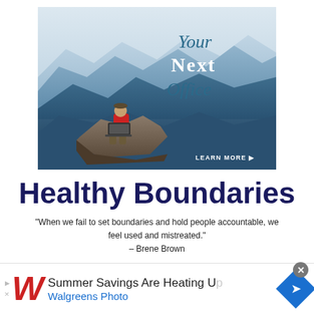[Figure (illustration): Advertisement banner showing a person in red shirt sitting on a rocky mountain cliff using a laptop, with blue misty mountain ranges in background. Text overlay reads 'Your Next Office' and 'Learn More' button in bottom right.]
Healthy Boundaries
"When we fail to set boundaries and hold people accountable, we feel used and mistreated." – Brene Brown
[Figure (infographic): Walgreens advertisement banner at bottom: Walgreens script W logo in red, text 'Summer Savings Are Heating Up', 'Walgreens Photo' in blue, navigation diamond icon on right. Close button (x) in top right.]